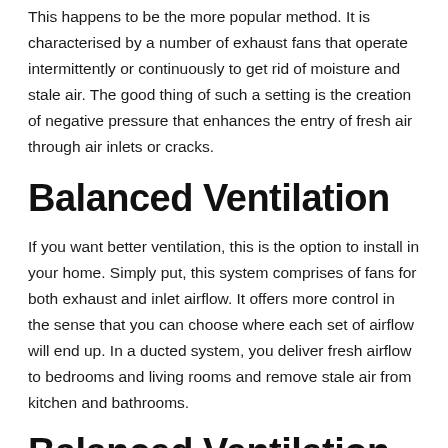This happens to be the more popular method. It is characterised by a number of exhaust fans that operate intermittently or continuously to get rid of moisture and stale air. The good thing of such a setting is the creation of negative pressure that enhances the entry of fresh air through air inlets or cracks.
Balanced Ventilation
If you want better ventilation, this is the option to install in your home. Simply put, this system comprises of fans for both exhaust and inlet airflow. It offers more control in the sense that you can choose where each set of airflow will end up. In a ducted system, you deliver fresh airflow to bedrooms and living rooms and remove stale air from kitchen and bathrooms.
Balanced Ventilation with Heat Recovery